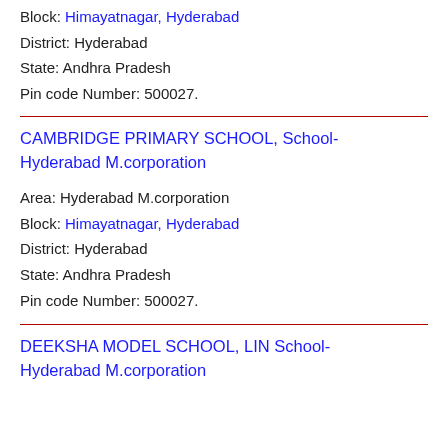Block: Himayatnagar, Hyderabad
District: Hyderabad
State: Andhra Pradesh
Pin code Number: 500027.
CAMBRIDGE PRIMARY SCHOOL, School-Hyderabad M.corporation
Area: Hyderabad M.corporation
Block: Himayatnagar, Hyderabad
District: Hyderabad
State: Andhra Pradesh
Pin code Number: 500027.
DEEKSHA MODEL SCHOOL, LIN School-Hyderabad M.corporation